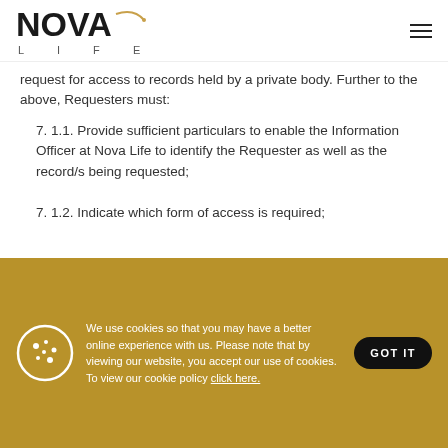NOVA LIFE
request for access to records held by a private body. Further to the above, Requesters must:
7. 1.1. Provide sufficient particulars to enable the Information Officer at Nova Life to identify the Requester as well as the record/s being requested;
7. 1.2. Indicate which form of access is required;
We use cookies so that you may have a better online experience with us. Please note that by viewing our website, you accept our use of cookies. To view our cookie policy click here.